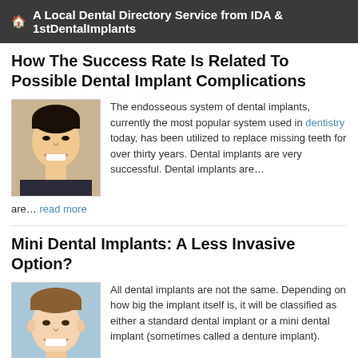A Local Dental Directory Service from IDA & 1stDentalImplants
How The Success Rate Is Related To Possible Dental Implant Complications
[Figure (photo): Smiling Asian man, headshot photo]
The endosseous system of dental implants, currently the most popular system used in dentistry today, has been utilized to replace missing teeth for over thirty years. Dental implants are very successful. Dental implants are… read more
Mini Dental Implants: A Less Invasive Option?
[Figure (photo): Smiling man with light complexion, headshot photo]
All dental implants are not the same. Depending on how big the implant itself is, it will be classified as either a standard dental implant or a mini dental implant (sometimes called a denture implant).
Regardless of size, they are all titanium… read more